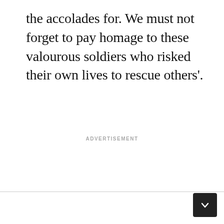the accolades for. We must not forget to pay homage to these valourous soldiers who risked their own lives to rescue others'.
ADVERTISEMENT